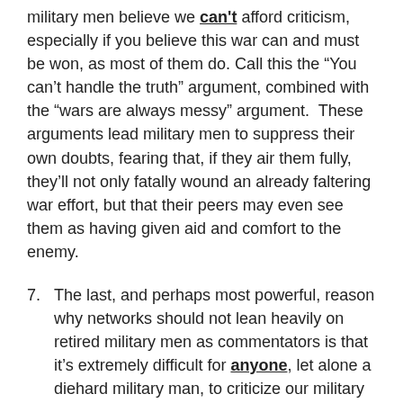military men believe we can't afford criticism, especially if you believe this war can and must be won, as most of them do. Call this the “You can’t handle the truth” argument, combined with the “wars are always messy” argument.  These arguments lead military men to suppress their own doubts, fearing that, if they air them fully, they’ll not only fatally wound an already faltering war effort, but that their peers may even see them as having given aid and comfort to the enemy.
7. The last, and perhaps most powerful, reason why networks should not lean heavily on retired military men as commentators is that it’s extremely difficult for anyone, let alone a diehard military man, to criticize our military because such criticism is taken so personally by so many Americans. When you criticize the military, people don’t necessarily recognize the patriotic subtlety of your exposé of the